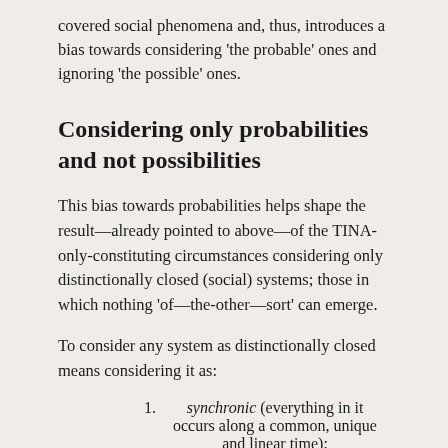covered social phenomena and, thus, introduces a bias towards considering 'the probable' ones and ignoring 'the possible' ones.
Considering only probabilities and not possibilities
This bias towards probabilities helps shape the result—already pointed to above—of the TINA-only-constituting circumstances considering only distinctionally closed (social) systems; those in which nothing 'of—the-other—sort' can emerge.
To consider any system as distinctionally closed means considering it as:
synchronic (everything in it occurs along a common, unique and linear time);